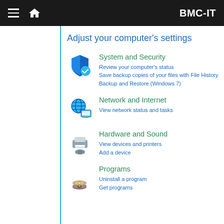BMC-IT
Adjust your computer’s settings
System and Security
Review your computer’s status
Save backup copies of your files with File History
Backup and Restore (Windows 7)
Network and Internet
View network status and tasks
Hardware and Sound
View devices and printers
Add a device
Programs
Uninstall a program
Get programs